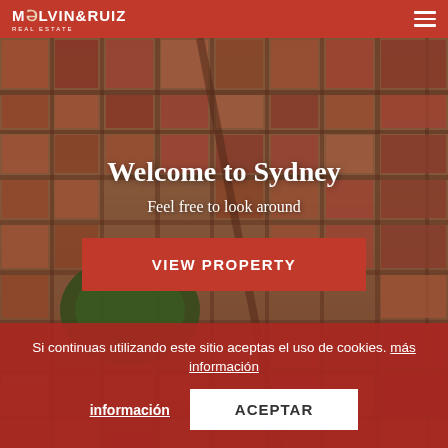MELVIN & RUIZ REAL ESTATE
[Figure (photo): Aerial view of a dense urban city with red-roofed buildings and grid street layout, warm tones]
Welcome to Sydney
Feel free to look around
VIEW PROPERTY
Si continuas utilizando este sitio aceptas el uso de cookies. más información
ACEPTAR